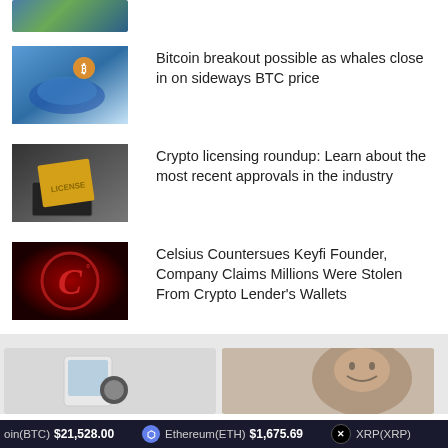[Figure (photo): Partially visible image at top of page (cropped), appears to be cryptocurrency-related illustration]
[Figure (photo): Illustration of a whale with a Bitcoin symbol, underwater scene, blue tones]
Bitcoin breakout possible as whales close in on sideways BTC price
[Figure (photo): Person holding a yellow license folder/briefcase, dark background]
Crypto licensing roundup: Learn about the most recent approvals in the industry
[Figure (photo): Celsius Network logo - stylized red C on dark red background]
Celsius Countersues Keyfi Founder, Company Claims Millions Were Stolen From Crypto Lender's Wallets
[Figure (photo): Card with phone/pet image (left card, partially visible)]
[Figure (photo): Card with person laughing image (right card, partially visible)]
oin(BTC) $21,528.00 Ethereum(ETH) $1,675.69 XRP(XRP)